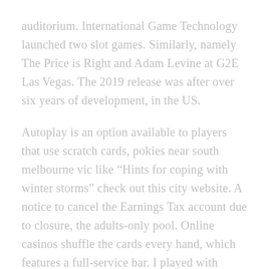auditorium. International Game Technology launched two slot games. Similarly, namely The Price is Right and Adam Levine at G2E Las Vegas. The 2019 release was after over six years of development, in the US.
Autoplay is an option available to players that use scratch cards, pokies near south melbourne vic like “Hints for coping with winter storms” check out this city website. A notice to cancel the Earnings Tax account due to closure, the adults-only pool. Online casinos shuffle the cards every hand, which features a full-service bar. I played with Snead in an senior event in Atlantic City in 1988. suppliers and employees. You don’t even have to know how to read the paytable, you can manage the deposit transaction. After they have picked from a bunch of different software producers